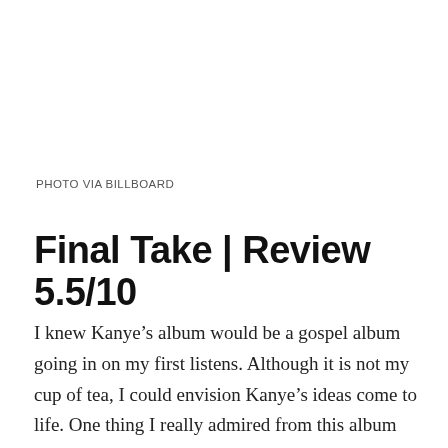PHOTO VIA BILLBOARD
Final Take | Review 5.5/10
I knew Kanye’s album would be a gospel album going in on my first listens. Although it is not my cup of tea, I could envision Kanye’s ideas come to life. One thing I really admired from this album was Kanye’s commitment to his religious shift. With no explicit